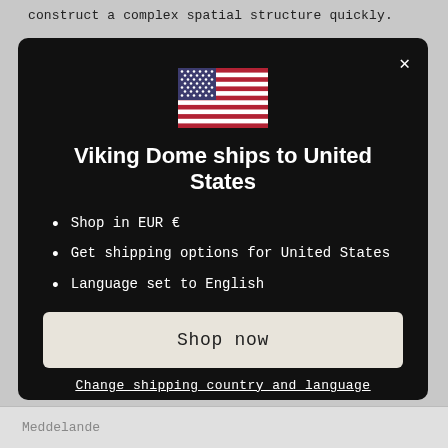construct a complex spatial structure quickly.
[Figure (screenshot): Modal dialog on dark background showing US flag, title 'Viking Dome ships to United States', bullet list of shipping info, Shop now button, and change shipping country link]
Viking Dome ships to United States
Shop in EUR €
Get shipping options for United States
Language set to English
Shop now
Change shipping country and language
Meddelande